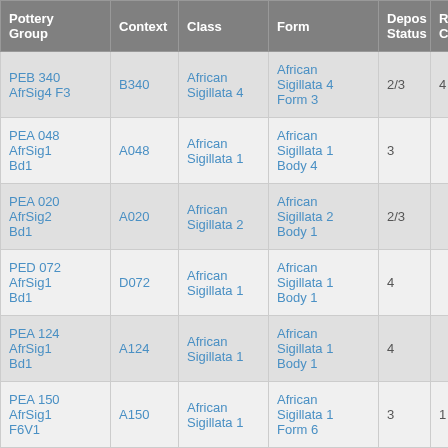| Pottery Group | Context | Class | Form | Depos Status | R Ct | R EV |
| --- | --- | --- | --- | --- | --- | --- |
| PEB 340 AfrSig4 F3 | B340 | African Sigillata 4 | African Sigillata 4 Form 3 | 2/3 | 4 | 4 |
| PEA 048 AfrSig1 Bd1 | A048 | African Sigillata 1 | African Sigillata 1 Body 4 | 3 |  |  |
| PEA 020 AfrSig2 Bd1 | A020 | African Sigillata 2 | African Sigillata 2 Body 1 | 2/3 |  |  |
| PED 072 AfrSig1 Bd1 | D072 | African Sigillata 1 | African Sigillata 1 Body 1 | 4 |  |  |
| PEA 124 AfrSig1 Bd1 | A124 | African Sigillata 1 | African Sigillata 1 Body 1 | 4 |  |  |
| PEA 150 AfrSig1 F6V1 | A150 | African Sigillata 1 | African Sigillata 1 Form 6 | 3 | 1 | 1 |